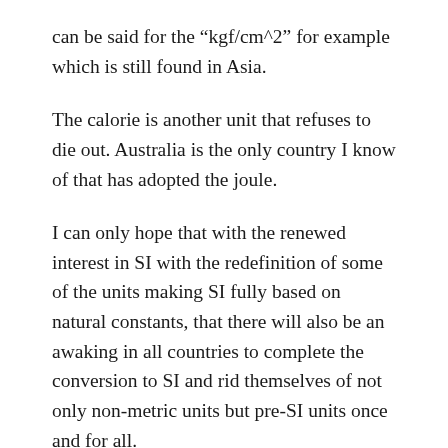can be said for the “kgf/cm^2” for example which is still found in Asia.
The calorie is another unit that refuses to die out. Australia is the only country I know of that has adopted the joule.
I can only hope that with the renewed interest in SI with the redefinition of some of the units making SI fully based on natural constants, that there will also be an awaking in all countries to complete the conversion to SI and rid themselves of not only non-metric units but pre-SI units once and for all.
★ Like